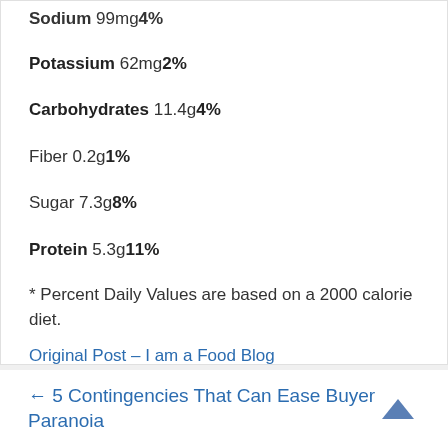Sodium 99mg 4%
Potassium 62mg 2%
Carbohydrates 11.4g 4%
Fiber 0.2g 1%
Sugar 7.3g 8%
Protein 5.3g 11%
* Percent Daily Values are based on a 2000 calorie diet.
Original Post – I am a Food Blog
← 5 Contingencies That Can Ease Buyer Paranoia